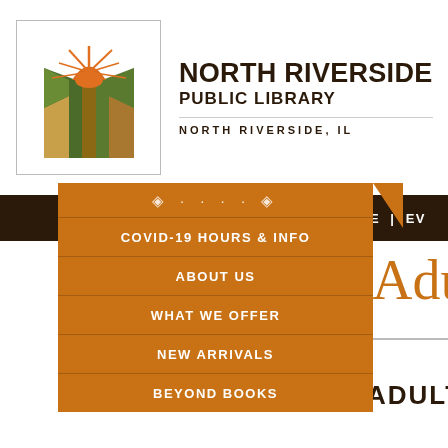[Figure (logo): North Riverside Public Library logo — stylized open book with sun rays in green, brown, and orange colors, inside a white box with gray border]
NORTH RIVERSIDE PUBLIC LIBRARY
NORTH RIVERSIDE, IL
HOME | EV
COVID-19 HOURS & INFO
ABOUT US
WHAT WE OFFER
NEW ARRIVALS
BEYOND BOOKS
Adult
ADULT